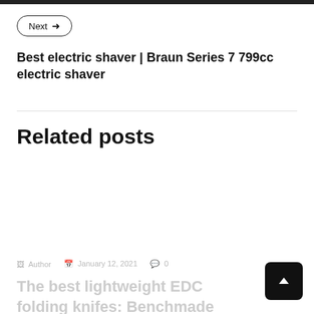Next →
Best electric shaver | Braun Series 7 799cc electric shaver
Related posts
The best lightweight EDC folding knifes: Benchmade Bugout